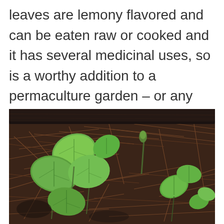leaves are lemony flavored and can be eaten raw or cooked and it has several medicinal uses, so is a worthy addition to a permaculture garden – or any garden!
[Figure (photo): A photograph of small green plants with heart-shaped leaves growing among brown pine needles and dry grass on dark soil.]